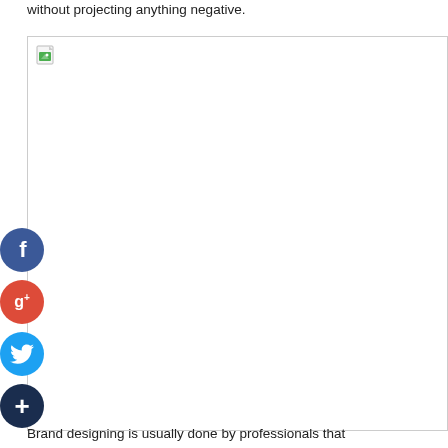without projecting anything negative.
[Figure (photo): A large image placeholder with a broken image icon in the top-left corner. Social media share buttons (Facebook, Google+, Twitter, and a plus/more button) are overlaid on the left side of the image.]
Brand designing is usually done by professionals that